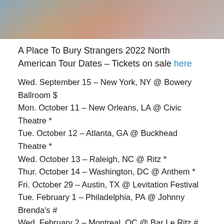[Figure (photo): Partial photo showing two people, cropped at top of page]
A Place To Bury Strangers 2022 North American Tour Dates – Tickets on sale here
Wed. September 15 – New York, NY @ Bowery Ballroom $
Mon. October 11 – New Orleans, LA @ Civic Theatre *
Tue. October 12 – Atlanta, GA @ Buckhead Theatre *
Wed. October 13 – Raleigh, NC @ Ritz *
Thur. October 14 – Washington, DC @ Anthem *
Fri. October 29 – Austin, TX @ Levitation Festival
Tue. February 1 – Philadelphia, PA @ Johnny Brenda's #
Wed. February 2 – Montreal, QC @ Bar Le Ritz #
Fri. February 4 – Toronto, ON @ Lee's Palace #
Sat. February 5 – Detroit, MI @ El Club #